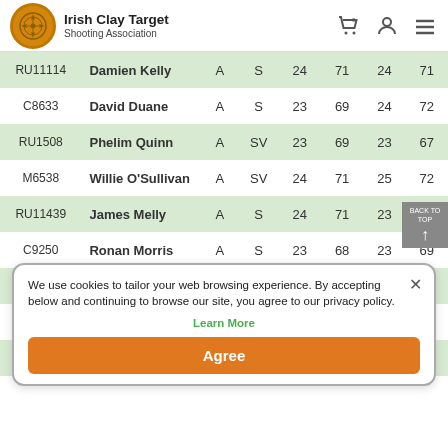Irish Clay Target Shooting Association
| ID | Name | Class | Cat | C1 | T1 | C2 | T2 |
| --- | --- | --- | --- | --- | --- | --- | --- |
| RU11114 | Damien Kelly | A | S | 24 | 71 | 24 | 71 |
| C8633 | David Duane | A | S | 23 | 69 | 24 | 72 |
| RU1508 | Phelim Quinn | A | SV | 23 | 69 | 23 | 67 |
| M6538 | Willie O'Sullivan | A | SV | 24 | 71 | 25 | 72 |
| RU11439 | James Melly | A | S | 24 | 71 | 23 | 69 |
| C9250 | Ronan Morris | A | S | 23 | 68 | 23 | 69 |
|  | Brian Ferguson |  |  |  |  |  |  |
| C11109 | Patrick Lawrence |  |  |  | 74 | 25 | 74 |
| RU11418 | Sean Dulle... |  | S | 24 | 73 | 25 | 47 |
We use cookies to tailor your web browsing experience. By accepting below and continuing to browse our site, you agree to our privacy policy.
Learn More
Agree